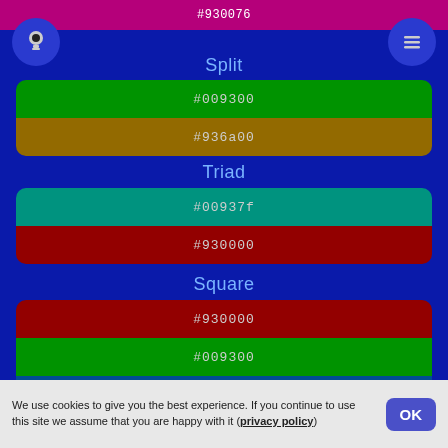#930076
[Figure (other): Light bulb icon button (left) and hamburger menu icon button (right) on dark blue circular backgrounds]
Split
[Figure (infographic): Color swatches showing #009300 (green) and #936a00 (dark yellow/olive)]
Triad
[Figure (infographic): Color swatches showing #00937f (teal) and #930000 (dark red)]
Square
[Figure (infographic): Color swatches showing #930000 (dark red), #009300 (green), and #004d93 (dark blue)]
Tetradic
We use cookies to give you the best experience. If you continue to use this site we assume that you are happy with it (privacy policy)